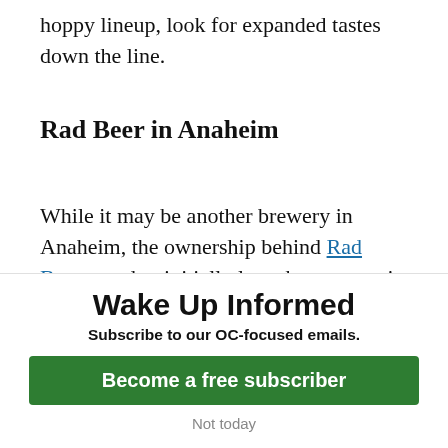hoppy lineup, look for expanded tastes down the line.
Rad Beer in Anaheim
While it may be another brewery in Anaheim, the ownership behind Rad Beer opted to initially launch an eatery in Dana Point named Rad Brat months before. By doing so, there's now a dedicated means of feeding customers when the need arises –
Wake Up Informed
Subscribe to our OC-focused emails.
Become a free subscriber
Not today